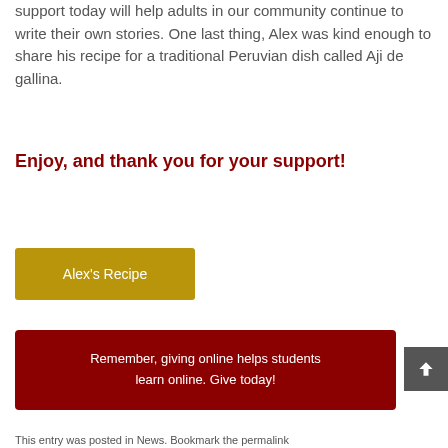support today will help adults in our community continue to write their own stories. One last thing, Alex was kind enough to share his recipe for a traditional Peruvian dish called Aji de gallina.
Enjoy, and thank you for your support!
[Figure (other): Gold/yellow button labeled 'Alex's Recipe']
Remember, giving online helps students learn online. Give today!
This entry was posted in News. Bookmark the permalink